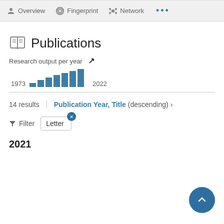Overview  Fingerprint  Network  ...
Publications
Research output per year
[Figure (bar-chart): Research output per year]
14 results   Publication Year, Title (descending) ›
Filter   Letter
2021